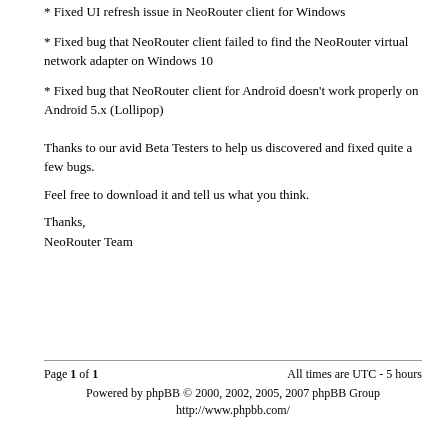* Fixed UI refresh issue in NeoRouter client for Windows
* Fixed bug that NeoRouter client failed to find the NeoRouter virtual network adapter on Windows 10
* Fixed bug that NeoRouter client for Android doesn't work properly on Android 5.x (Lollipop)
Thanks to our avid Beta Testers to help us discovered and fixed quite a few bugs.
Feel free to download it and tell us what you think.
Thanks,
NeoRouter Team
Page 1 of 1    All times are UTC - 5 hours
Powered by phpBB © 2000, 2002, 2005, 2007 phpBB Group
http://www.phpbb.com/